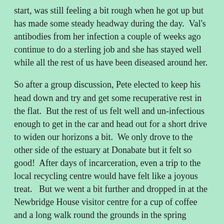start, was still feeling a bit rough when he got up but has made some steady headway during the day.  Val's antibodies from her infection a couple of weeks ago continue to do a sterling job and she has stayed well while all the rest of us have been diseased around her.
So after a group discussion, Pete elected to keep his head down and try and get some recuperative rest in the flat.  But the rest of us felt well and un-infectious enough to get in the car and head out for a short drive to widen our horizons a bit.  We only drove to the other side of the estuary at Donabate but it felt so good!  After days of incarceration, even a trip to the local recycling centre would have felt like a joyous treat.   But we went a bit further and dropped in at the Newbridge House visitor centre for a cup of coffee and a long walk round the grounds in the spring sunshine.
None of us had the desire or energy to rush, so it was quite